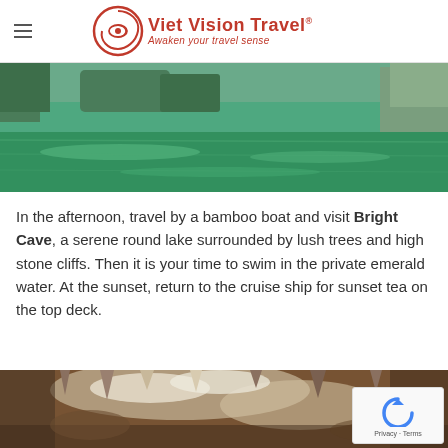Viet Vision Travel — Awaken your travel sense
[Figure (photo): Aerial/water-level view of emerald green bay water with limestone karst cliffs and trees in the background — Ha Long Bay style scenery]
In the afternoon, travel by a bamboo boat and visit Bright Cave, a serene round lake surrounded by lush trees and high stone cliffs. Then it is your time to swim in the private emerald water. At the sunset, return to the cruise ship for sunset tea on the top deck.
[Figure (photo): Close-up of cave interior showing textured rock formations, stalactites and cave walls with brown, white, and orange mineral deposits]